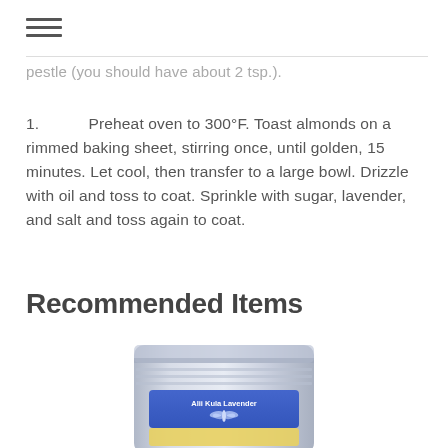≡
pestle (you should have about 2 tsp.).
1.      Preheat oven to 300°F. Toast almonds on a rimmed baking sheet, stirring once, until golden, 15 minutes. Let cool, then transfer to a large bowl. Drizzle with oil and toss to coat. Sprinkle with sugar, lavender, and salt and toss again to coat.
Recommended Items
[Figure (photo): A silver resealable pouch with a blue and yellow label reading 'Alii Kula Lavender', featuring a dragonfly logo.]